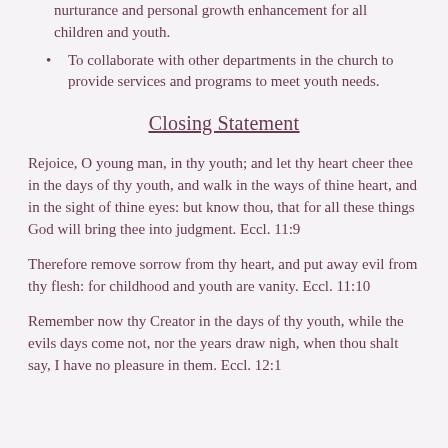nurturance and personal growth enhancement for all children and youth.
To collaborate with other departments in the church to provide services and programs to meet youth needs.
Closing Statement
Rejoice, O young man, in thy youth; and let thy heart cheer thee in the days of thy youth, and walk in the ways of thine heart, and in the sight of thine eyes: but know thou, that for all these things God will bring thee into judgment. Eccl. 11:9
Therefore remove sorrow from thy heart, and put away evil from thy flesh: for childhood and youth are vanity. Eccl. 11:10
Remember now thy Creator in the days of thy youth, while the evils days come not, nor the years draw nigh, when thou shalt say, I have no pleasure in them. Eccl. 12:1